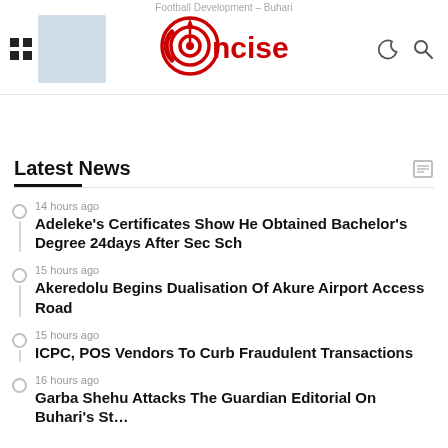Concise News
Latest News
14 hours ago
Adeleke's Certificates Show He Obtained Bachelor's Degree 24days After Sec Sch
15 hours ago
Akeredolu Begins Dualisation Of Akure Airport Access Road
15 hours ago
ICPC, POS Vendors To Curb Fraudulent Transactions
16 hours ago
Garba Shehu Attacks The Guardian Editorial On Buhari's Stewardship